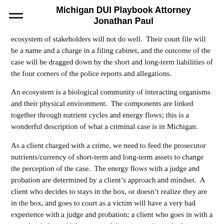Michigan DUI Playbook Attorney Jonathan Paul
ecosystem of stakeholders will not do well.  Their court file will be a name and a charge in a filing cabinet, and the outcome of the case will be dragged down by the short and long-term liabilities of the four corners of the police reports and allegations.
An ecosystem is a biological community of interacting organisms and their physical environment.  The components are linked together through nutrient cycles and energy flows; this is a wonderful description of what a criminal case is in Michigan.
As a client charged with a crime, we need to feed the prosecutor nutrients/currency of short-term and long-term assets to change the perception of the case.  The energy flows with a judge and probation are determined by a client’s approach and mindset.  A client who decides to stays in the box, or doesn’t realize they are in the box, and goes to court as a victim will have a very bad experience with a judge and probation; a client who goes in with a growth mindset with have a much better experience, be less